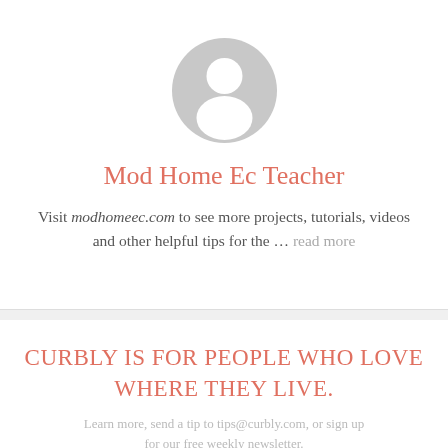[Figure (illustration): Generic user avatar silhouette in gray circle — a circular gray background with a white person silhouette centered inside it.]
Mod Home Ec Teacher
Visit modhomeec.com to see more projects, tutorials, videos and other helpful tips for the … read more
CURBLY IS FOR PEOPLE WHO LOVE WHERE THEY LIVE.
Learn more, send a tip to tips@curbly.com, or sign up for our free weekly newsletter.